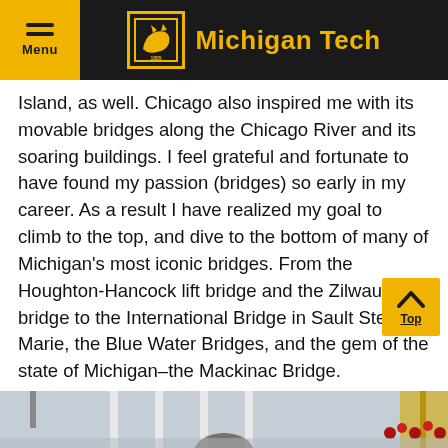Michigan Tech
Island, as well. Chicago also inspired me with its movable bridges along the Chicago River and its soaring buildings. I feel grateful and fortunate to have found my passion (bridges) so early in my career. As a result I have realized my goal to climb to the top, and dive to the bottom of many of Michigan's most iconic bridges. From the Houghton-Hancock lift bridge and the Zilwaukee bridge to the International Bridge in Sault Ste. Marie, the Blue Water Bridges, and the gem of the state of Michigan–the Mackinac Bridge.
[Figure (photo): Outdoor scene with flags and white architectural columns, partially visible person in lower portion]